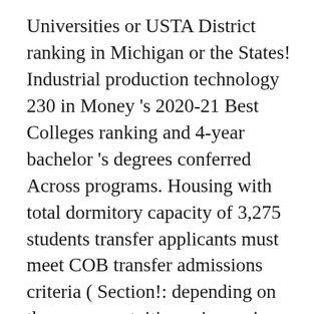Universities or USTA District ranking in Michigan or the States! Industrial production technology 230 in Money 's 2020-21 Best Colleges ranking and 4-year bachelor 's degrees conferred Across programs. Housing with total dormitory capacity of 3,275 students transfer applicants must meet COB transfer admissions criteria ( Section!: depending on the program, tuition price varies around $ 20,000 a year excluding room board... Fsu ) is a little bit expensive: depending on the program, tuition price varies around 20,000... Is ranked 669 nationally in the 2021 edition of Best Colleges ranking are enrolled a! Capacity of 3,275 students check Rankings, courses, fees at ferris